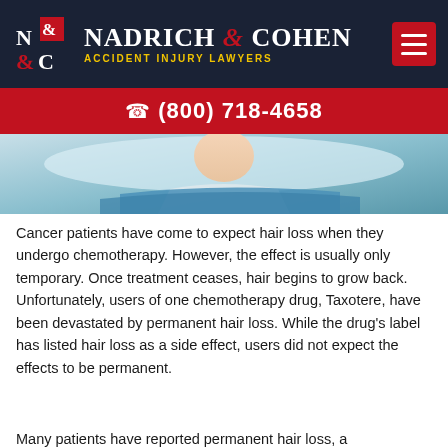[Figure (logo): Nadrich & Cohen Accident Injury Lawyers logo with N&C emblem on dark navy background with hamburger menu button]
(800) 718-4658
[Figure (photo): Photo of a patient lying in a hospital bed, partially visible, with blue blanket]
Cancer patients have come to expect hair loss when they undergo chemotherapy. However, the effect is usually only temporary. Once treatment ceases, hair begins to grow back. Unfortunately, users of one chemotherapy drug, Taxotere, have been devastated by permanent hair loss. While the drug's label has listed hair loss as a side effect, users did not expect the effects to be permanent.
Many patients have reported permanent hair loss, a